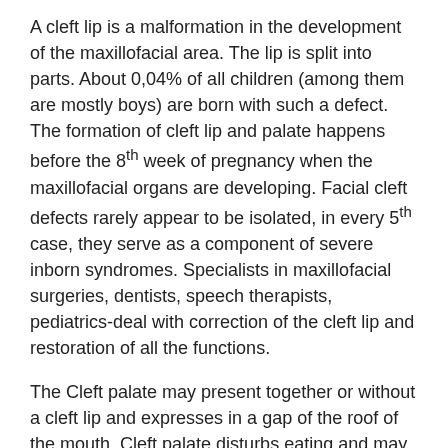A cleft lip is a malformation in the development of the maxillofacial area. The lip is split into parts. About 0,04% of all children (among them are mostly boys) are born with such a defect. The formation of cleft lip and palate happens before the 8th week of pregnancy when the maxillofacial organs are developing. Facial cleft defects rarely appear to be isolated, in every 5th case, they serve as a component of severe inborn syndromes. Specialists in maxillofacial surgeries, dentists, speech therapists, pediatrics-deal with correction of the cleft lip and restoration of all the functions.
The Cleft palate may present together or without a cleft lip and expresses in a gap of the roof of the mouth. Cleft palate disturbs eating and may cause ear infections and hearing violations.